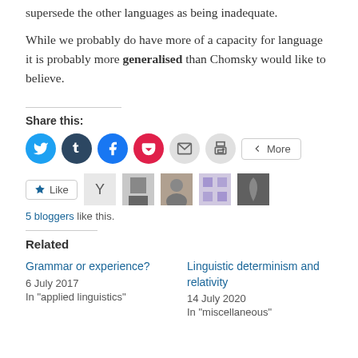supersede the other languages as being inadequate.
While we probably do have more of a capacity for language it is probably more generalised than Chomsky would like to believe.
Share this:
[Figure (infographic): Social share buttons: Twitter (blue circle), Tumblr (dark circle), Facebook (blue circle), Pocket (red circle), Email (grey circle), Print (grey circle), More button]
[Figure (infographic): Like button with star icon, followed by 5 blogger avatar thumbnails]
5 bloggers like this.
Related
Grammar or experience?
6 July 2017
In "applied linguistics"
Linguistic determinism and relativity
14 July 2020
In "miscellaneous"